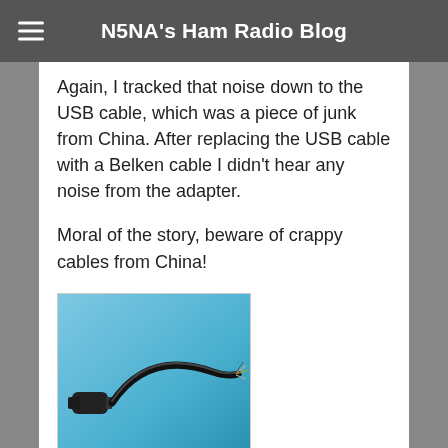N5NA's Ham Radio Blog
Again, I tracked that noise down to the USB cable, which was a piece of junk from China. After replacing the USB cable with a Belken cable I didn't hear any noise from the adapter.
Moral of the story, beware of crappy cables from China!
[Figure (photo): Photo of a black USB cable with a connector on one end and exposed/frayed wires on the other end, photographed against a blue gradient background.]